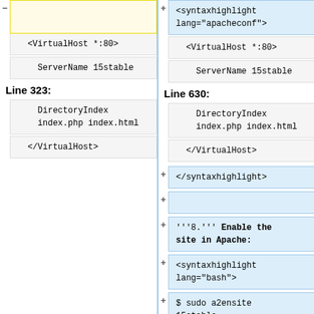- (yellow highlighted empty block, left top)
+ <syntaxhighlight lang="apacheconf">
<VirtualHost *:80>
<VirtualHost *:80>
ServerName 15stable
ServerName 15stable
Line 323:
Line 630:
DirectoryIndex index.php index.html
DirectoryIndex index.php index.html
</VirtualHost>
</VirtualHost>
+ </syntaxhighlight>
+
+ '''8.''' Enable the site in Apache:
+ <syntaxhighlight lang="bash">
+ $ sudo a2ensite 15stable